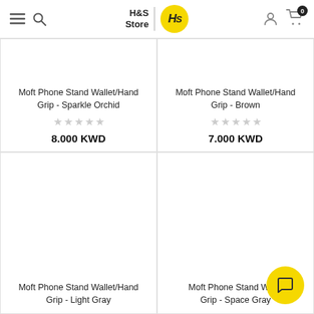H&S Store
Moft Phone Stand Wallet/Hand Grip - Sparkle Orchid
★★★★★
8.000 KWD
Moft Phone Stand Wallet/Hand Grip - Brown
★★★★★
7.000 KWD
[Figure (photo): Product image area - Light Gray variant (blank/white)]
[Figure (photo): Product image area - Space Gray variant (blank/white)]
Moft Phone Stand Wallet/Hand Grip - Light Gray
Moft Phone Stand Wallet/Hand Grip - Space Gray